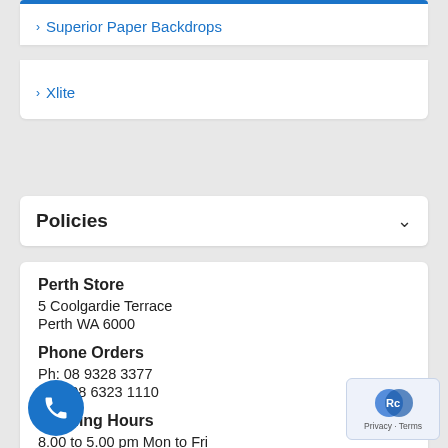Superior Paper Backdrops
Xlite
Policies
Perth Store
5 Coolgardie Terrace
Perth WA 6000
Phone Orders
Ph: 08 9328 3377
Fax: 08 6323 1110
Opening Hours
8.00 to 5.00 pm Mon to Fri
to 1.00pm Saturday